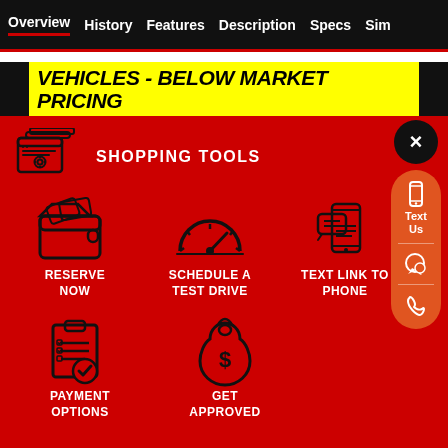Overview | History | Features | Description | Specs | Sim
VEHICLES - BELOW MARKET PRICING
SHOPPING TOOLS
RESERVE NOW
SCHEDULE A TEST DRIVE
TEXT LINK TO PHONE
PAYMENT OPTIONS
GET APPROVED